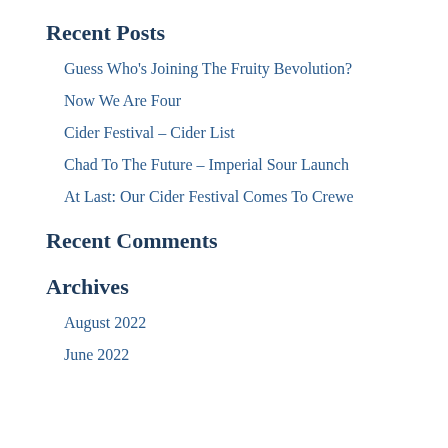Recent Posts
Guess Who's Joining The Fruity Bevolution?
Now We Are Four
Cider Festival – Cider List
Chad To The Future – Imperial Sour Launch
At Last: Our Cider Festival Comes To Crewe
Recent Comments
Archives
August 2022
June 2022